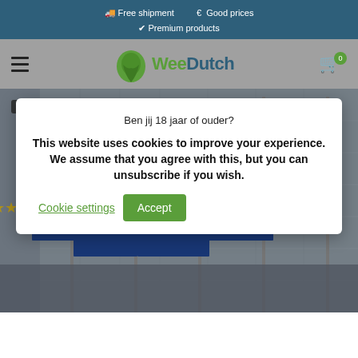Free shipment   €  Good prices   ✓ Premium products
[Figure (screenshot): WeeDutch website navigation bar with hamburger menu, WeeDutch logo with green leaf, and shopping cart icon with badge showing 0]
Ben jij 18 jaar of ouder?
This website uses cookies to improve your experience. We assume that you agree with this, but you can unsubscribe if you wish.  Cookie settings  Accept
[Figure (photo): Photo of European Union flags on flagpoles in front of a large modern building (European Commission), with Cbd label badge in top left corner]